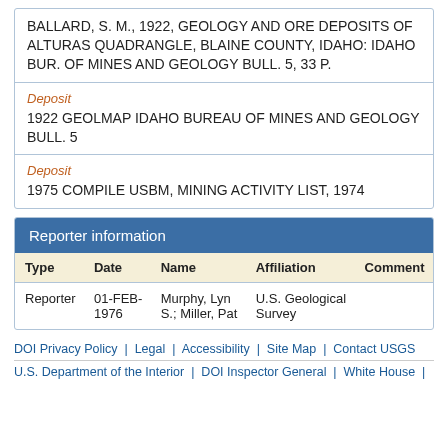BALLARD, S. M., 1922, GEOLOGY AND ORE DEPOSITS OF ALTURAS QUADRANGLE, BLAINE COUNTY, IDAHO: IDAHO BUR. OF MINES AND GEOLOGY BULL. 5, 33 P.
Deposit
1922 GEOLMAP IDAHO BUREAU OF MINES AND GEOLOGY BULL. 5
Deposit
1975 COMPILE USBM, MINING ACTIVITY LIST, 1974
Reporter information
| Type | Date | Name | Affiliation | Comment |
| --- | --- | --- | --- | --- |
| Reporter | 01-FEB-1976 | Murphy, Lyn S.; Miller, Pat | U.S. Geological Survey |  |
DOI Privacy Policy  |  Legal  |  Accessibility  |  Site Map  |  Contact USGS
U.S. Department of the Interior  |  DOI Inspector General  |  White House  |